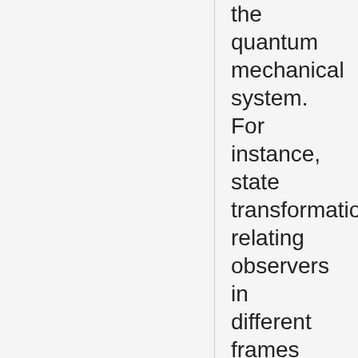the quantum mechanical system. For instance, state transformations relating observers in different frames of reference are